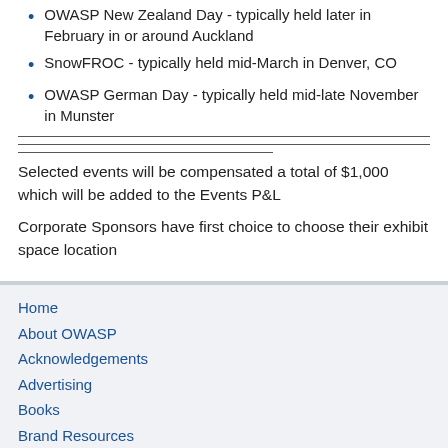OWASP New Zealand Day - typically held later in February in or around Auckland
SnowFROC - typically held mid-March in Denver, CO
OWASP German Day - typically held mid-late November in Munster
Selected events will be compensated a total of $1,000 which will be added to the Events P&L
Corporate Sponsors have first choice to choose their exhibit space location
Home
About OWASP
Acknowledgements
Advertising
Books
Brand Resources
Careers